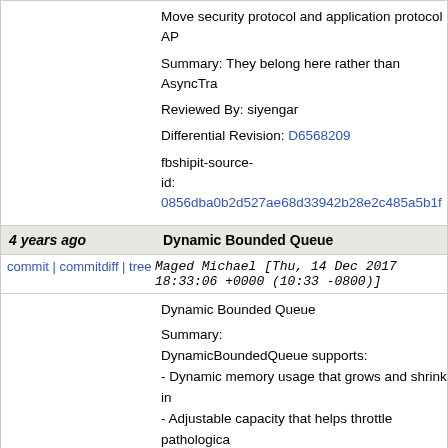Move security protocol and application protocol AP
Summary: They belong here rather than AsyncTra
Reviewed By: siyengar
Differential Revision: D6568209
fbshipit-source-id: 0856dba0b2d527ae68d33942b28e2c485a5b1f
4 years ago   Dynamic Bounded Queue
commit | commitdiff | tree   Maged Michael [Thu, 14 Dec 2017 18:33:06 +0000 (10:33 -0800)]
Dynamic Bounded Queue

Summary:
DynamicBoundedQueue supports:
- Dynamic memory usage that grows and shrink in
- Adjustable capacity that helps throttle pathologica consumer imbalance that may lead to excessive m
- The adjustable capacity can also help prevent de
- SPSC, SPMC, MPSC, MPMC variants.
- Blocking and spinning-only variants.
- Inter-operable non-
waiting, timed until, timed for, and waiting variants.
- Optional variable element weights.